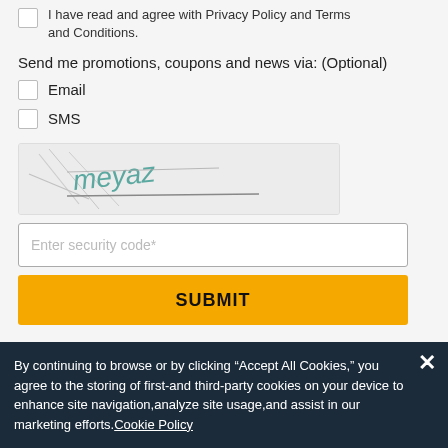I have read and agree with Privacy Policy and Terms and Conditions.
Send me promotions, coupons and news via: (Optional)
Email
SMS
[Figure (other): CAPTCHA image with text 'meyaz' in teal/gray with diagonal lines]
Enter security code*
SUBMIT
MON - SUN
8 AM - 6 PM
By continuing to browse or by clicking “Accept All Cookies,” you agree to the storing of first-and third-party cookies on your device to enhance site navigation,analyze site usage,and assist in our marketing efforts.Cookie Policy